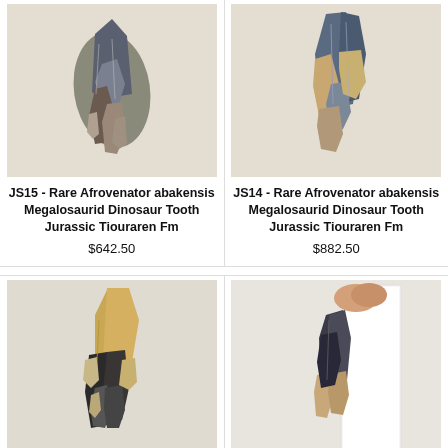[Figure (photo): Fossilized dinosaur tooth JS15 - dark bluish-grey mineralized tooth fragment on white background]
JS15 - Rare Afrovenator abakensis Megalosaurid Dinosaur Tooth Jurassic Tiouraren Fm
$642.50
[Figure (photo): Fossilized dinosaur tooth JS14 - dark bluish-grey and beige mineralized tooth fragment on white background]
JS14 - Rare Afrovenator abakensis Megalosaurid Dinosaur Tooth Jurassic Tiouraren Fm
$882.50
[Figure (photo): Fossilized dinosaur tooth JS12 - large cone-shaped tooth with golden tip and black/cream cracked pattern]
JS12 - Rare Afrovenator
[Figure (photo): Fossilized dinosaur tooth JS8 - dark grey tooth held against white card/ruler]
JS8 - Rare Afrovenator